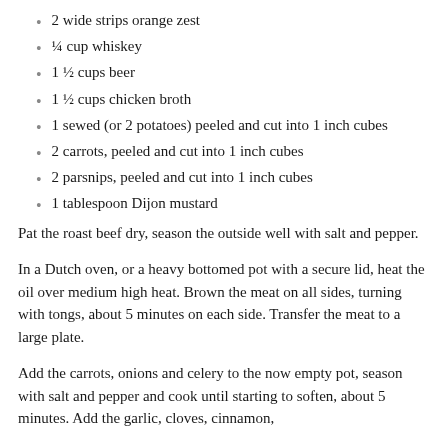2 wide strips orange zest
¼ cup whiskey
1 ½ cups beer
1 ½ cups chicken broth
1 sewed (or 2 potatoes) peeled and cut into 1 inch cubes
2 carrots, peeled and cut into 1 inch cubes
2 parsnips, peeled and cut into 1 inch cubes
1 tablespoon Dijon mustard
Pat the roast beef dry, season the outside well with salt and pepper.
In a Dutch oven, or a heavy bottomed pot with a secure lid, heat the oil over medium high heat. Brown the meat on all sides, turning with tongs, about 5 minutes on each side. Transfer the meat to a large plate.
Add the carrots, onions and celery to the now empty pot, season with salt and pepper and cook until starting to soften, about 5 minutes. Add the garlic, cloves, cinnamon,